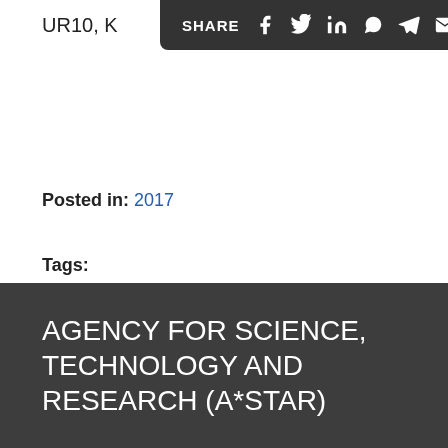UR10, K
SHARE
Posted in: 2017
Tags:
AGENCY FOR SCIENCE, TECHNOLOGY AND RESEARCH (A*STAR)